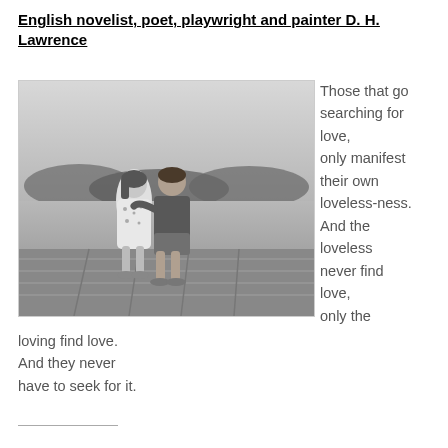English novelist, poet, playwright and painter D. H. Lawrence
[Figure (photo): Black and white photograph of two young children (a girl in a floral dress and a boy in a t-shirt and shorts) standing together on a wooden dock, viewed from behind, looking out over water with trees in the background.]
Those that go searching for love, only manifest their own loveless-ness. And the loveless never find love, only the loving find love. And they never have to seek for it.